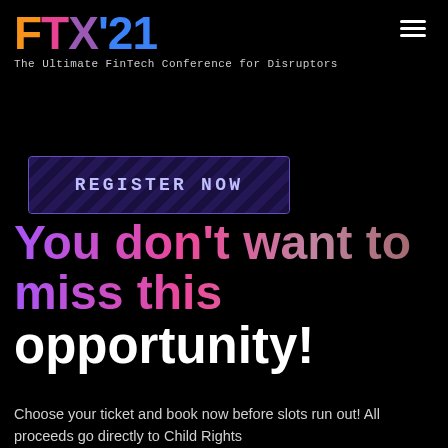FTX'21 — The Ultimate FinTech Conference for Disruptors
[Figure (screenshot): Register Now button with dark purple diagonal pattern background and teal border]
You don't want to miss this opportunity!
Choose your ticket and book now before slots run out! All proceeds go directly to Child Rights